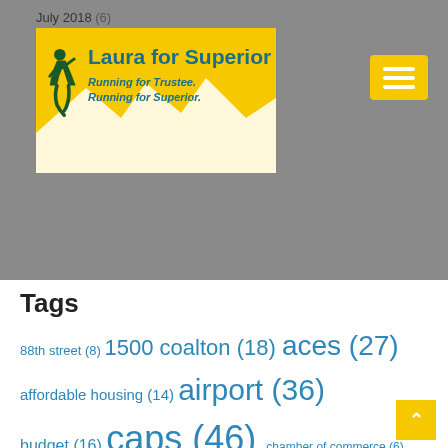July 2018 (6)
[Figure (logo): Laura for Superior campaign logo — yellow background with silhouette of a runner and mountain graphic. Text: 'Laura for Superior' and 'Running for Trustee. Running for Superior.']
Tags
88th street (8) 1500 coalton (18) aces (27) affordable housing (14) airport (36) budget (16) caps (46) chamber of commerce (6) communications (16) community center (15) community space (10) covid19 (21) development (44) downtown superior (21) economic development (19) election (11) events (8) fire district (12) first